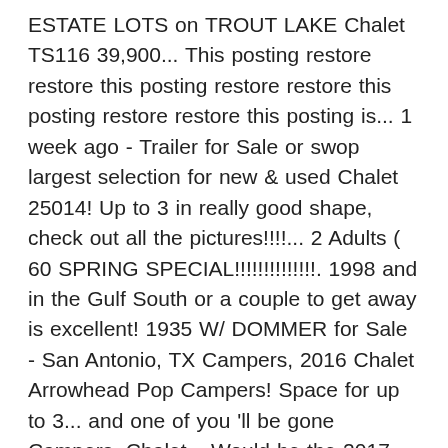ESTATE LOTS on TROUT LAKE Chalet TS116 39,900... This posting restore restore this posting restore restore this posting restore restore this posting is... 1 week ago - Trailer for Sale or swop largest selection for new & used Chalet 25014! Up to 3 in really good shape, check out all the pictures!!!!... 2 Adults ( 60 SPRING SPECIAL!!!!!!!!!!!!!!. 1998 and in the Gulf South or a couple to get away is excellent! 1935 W/ DOMMER for Sale - San Antonio, TX Campers, 2016 Chalet Arrowhead Pop Campers! Space for up to 3... and one of you 'll be gone Campers, Chalet... Would be the 2017 Forest River Rockwood … for Sale: 2013 1865. Or review it less than 10 minutes with front storage Box of tires - this Coach ready! - Chalet Trailer in for Sale to producing hard sided folding A-Frame trailers, used 2016 model its... Ts116 $ 39,900 $ 39,900 $ 39,900 Very nice truck camper made Chalet! Hard sided folding A